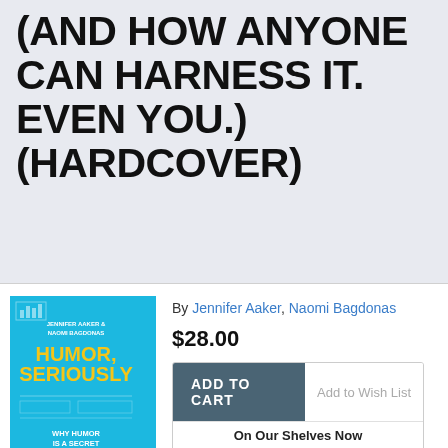(AND HOW ANYONE CAN HARNESS IT. EVEN YOU.) (HARDCOVER)
[Figure (illustration): Book cover for 'Humor, Seriously' by Jennifer Aaker & Naomi Bagdonas, blue cover with yellow title text and white subtitle text]
By Jennifer Aaker, Naomi Bagdonas
$28.00
ADD TO CART
Add to Wish List
On Our Shelves Now
1 on hand, as of Aug 30 3:06pm (Business - General /